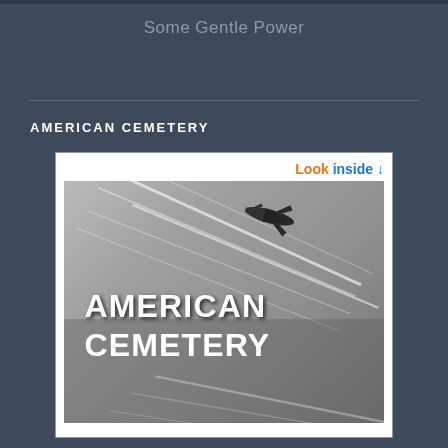Some Gentle Power
AMERICAN CEMETERY
[Figure (photo): Book cover for 'American Cemetery' showing a black-and-white photo of a jet aircraft with contrail streaks across a dramatic sky, with white bold text reading AMERICAN CEMETERY overlaid, and a 'Look inside' badge at the top right.]